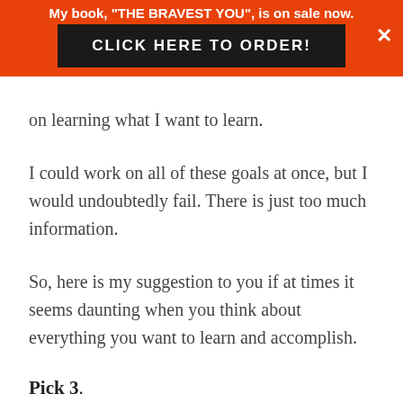My book, "THE BRAVEST YOU", is on sale now.
CLICK HERE TO ORDER!
on learning what I want to learn.
I could work on all of these goals at once, but I would undoubtedly fail. There is just too much information.
So, here is my suggestion to you if at times it seems daunting when you think about everything you want to learn and accomplish.
Pick 3.